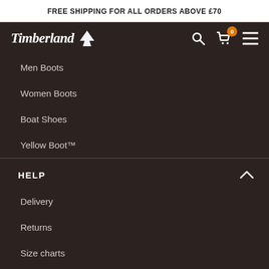FREE SHIPPING FOR ALL ORDERS ABOVE £70
[Figure (logo): Timberland logo with tree icon on dark brown navbar with search, cart (0 items), and hamburger menu icons]
Men Boots
Women Boots
Boat Shoes
Yellow Boot™
HELP
Delivery
Returns
Size charts
Secure Payments